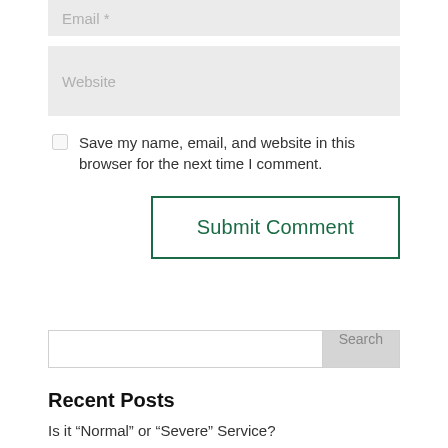Email *
Website
Save my name, email, and website in this browser for the next time I comment.
Submit Comment
Search
Recent Posts
Is it “Normal” or “Severe” Service?